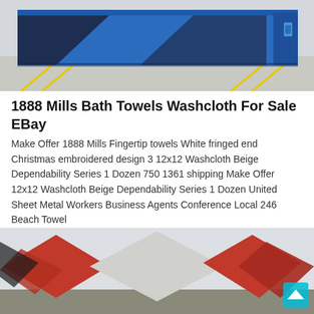[Figure (photo): A large blue industrial metal container or dumpster with angled dark panels, sitting on a concrete surface with yellow painted lines.]
1888 Mills Bath Towels Washcloth For Sale EBay
Make Offer 1888 Mills Fingertip towels White fringed end Christmas embroidered design 3 12x12 Washcloth Beige Dependability Series 1 Dozen 750 1361 shipping Make Offer 12x12 Washcloth Beige Dependability Series 1 Dozen United Sheet Metal Workers Business Agents Conference Local 246 Beach Towel
[Figure (photo): Industrial metal components or signs with red and white diamond/arrow shapes against a building background, with a small cyan home icon button overlay in the bottom right corner.]